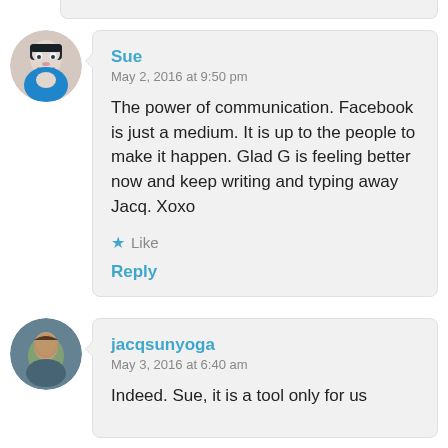Sue
May 2, 2016 at 9:50 pm

The power of communication. Facebook is just a medium. It is up to the people to make it happen. Glad G is feeling better now and keep writing and typing away Jacq. Xoxo

★ Like

Reply
jacqsunyoga
May 3, 2016 at 6:40 am

Indeed. Sue, it is a tool only for us